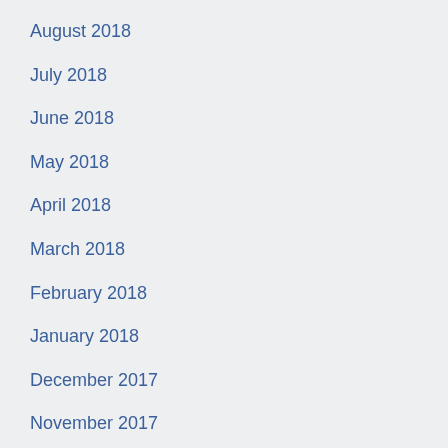August 2018
July 2018
June 2018
May 2018
April 2018
March 2018
February 2018
January 2018
December 2017
November 2017
September 2017
August 2017
July 2017
June 2017
May 2017